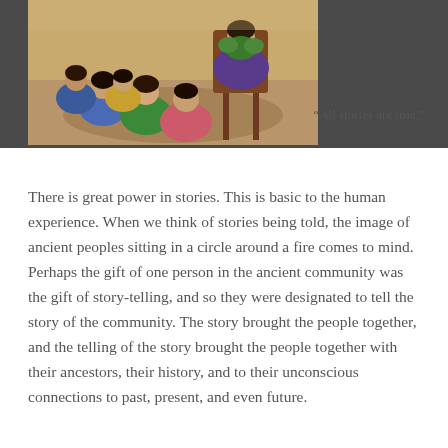[Figure (illustration): Painting of several children sitting in a circle on the floor around an adult seated in a chair, viewed from above/behind. The figures wear colorful clothing (blue, green, pink, purple). The setting appears warm and intimate, suggesting a storytelling scene.]
“All stories are true.”
There is great power in stories. This is basic to the human experience. When we think of stories being told, the image of ancient peoples sitting in a circle around a fire comes to mind. Perhaps the gift of one person in the ancient community was the gift of story-telling, and so they were designated to tell the story of the community. The story brought the people together, and the telling of the story brought the people together with their ancestors, their history, and to their unconscious connections to past, present, and even future.